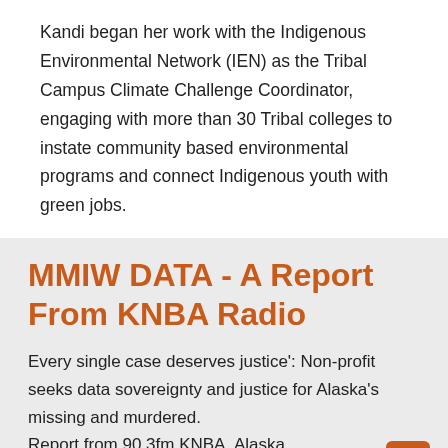Kandi began her work with the Indigenous Environmental Network (IEN) as the Tribal Campus Climate Challenge Coordinator, engaging with more than 30 Tribal colleges to instate community based environmental programs and connect Indigenous youth with green jobs.
MMIW DATA - A Report From KNBA Radio
Every single case deserves justice': Non-profit seeks data sovereignty and justice for Alaska's missing and murdered.
Report from 90.3fm KNBA, Alaska.
Produced by Tripp Crouse.